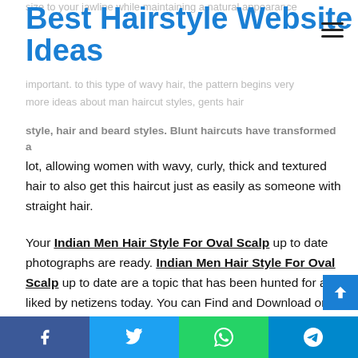Best Hairstyle Website Ideas
size to your jawline while maintaining a natural appearance important. to this type of wavy hair, the pattern begins very more ideas about man haircut styles, gents hair style, hair and beard styles. Blunt haircuts have transformed a lot, allowing women with wavy, curly, thick and textured hair to also get this haircut just as easily as someone with straight hair.
Your Indian Men Hair Style For Oval Scalp up to date photographs are ready. Indian Men Hair Style For Oval Scalp up to date are a topic that has been hunted for and liked by netizens today. You can Find and Download or bookmark the Indian Men Hair Style For Oval Scalp up to date files here
f  t  (whatsapp icon)  (telegram icon)